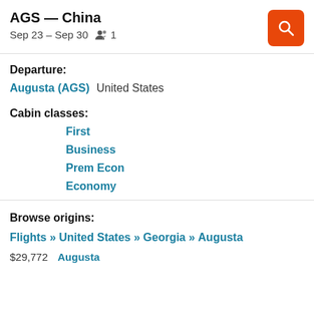AGS — China
Sep 23 – Sep 30   👥 1
Departure:
Augusta (AGS)   United States
Cabin classes:
First
Business
Prem Econ
Economy
Browse origins:
Flights » United States » Georgia » Augusta
$29,772   Augusta